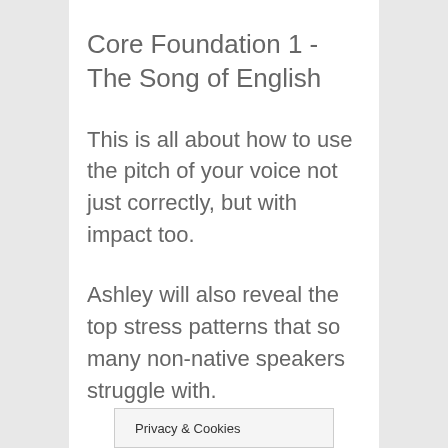Core Foundation 1 - The Song of English
This is all about how to use the pitch of your voice not just correctly, but with impact too.
Ashley will also reveal the top stress patterns that so many non-native speakers struggle with.
Privacy & Cookies